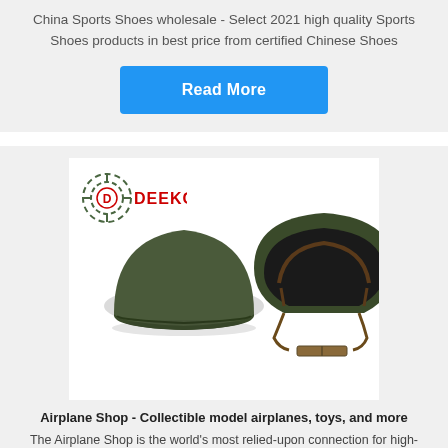China Sports Shoes wholesale - Select 2021 high quality Sports Shoes products in best price from certified Chinese Shoes
[Figure (other): Blue 'Read More' button]
[Figure (photo): DEEKON brand logo at top left with two military helmets (one shown from the side, one shown from the inside) on a white background]
Airplane Shop - Collectible model airplanes, toys, and more
The Airplane Shop is the world's most relied-upon connection for high-quality transportation collectibles. Whatever your interest,